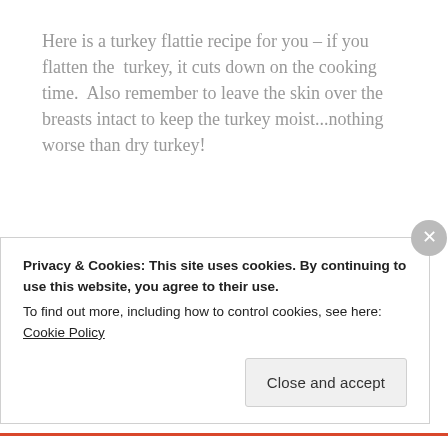Here is a turkey flattie recipe for you – if you flatten the turkey, it cuts down on the cooking time. Also remember to leave the skin over the breasts intact to keep the turkey moist...nothing worse than dry turkey!
I love a home-made spiced butter – and it makes the turkey super moist. Play around with the recipe – you
Privacy & Cookies: This site uses cookies. By continuing to use this website, you agree to their use.
To find out more, including how to control cookies, see here: Cookie Policy
Close and accept